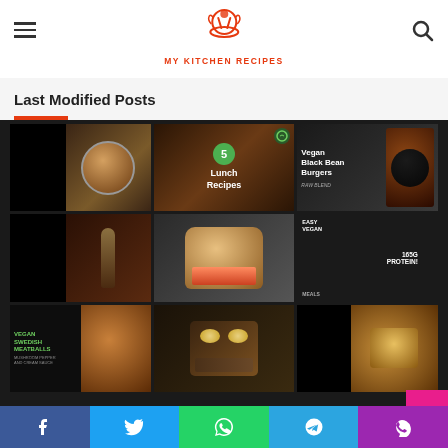My Kitchen Recipes
Last Modified Posts
[Figure (screenshot): 3x3 grid of food recipe thumbnail images including lunch recipes, vegan black bean burgers, vegan Swedish meatballs, and high-protein vegan meals]
Subscribe our Newsletter
Facebook | Twitter | WhatsApp | Telegram | Phone